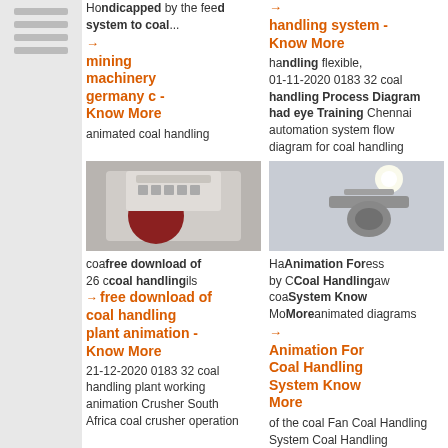[Figure (screenshot): Sidebar with horizontal menu lines on grey background]
Handicapped by the feed system to coal...
→ coal handling system - Know More
handling system has handling flexible, 01-11-2020 0183 32 coal handling Process Diagram had eye Training Chennai automation system flow diagram for coal handling
→ mining machinery germany c - Know More
animated coal handling
[Figure (photo): Industrial crusher/mining machinery in a factory setting]
[Figure (photo): Coal handling system component with light]
coal free download of coal handling plant animation - Know More
26 coal handling plant details go animation animated diagrams
21-12-2020 0183 32 coal handling plant working animation Crusher South Africa coal crusher operation
→ Animation For Coal Handling System Know More
animated diagrams of the coal Fan Coal Handling System Coal Handling Process In Thermal Power Plant Animation FOB
[Figure (photo): Small mechanical component close-up (dark object on grey background)]
[Figure (photo): Workers near industrial roller/pipe equipment]